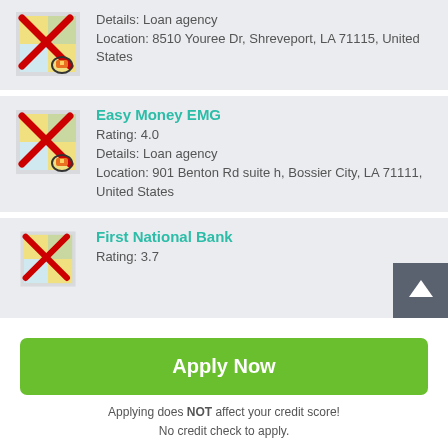[Figure (screenshot): Partial card at top showing a loan agency icon and details: Details: Loan agency, Location: 8510 Youree Dr, Shreveport, LA 71115, United States]
Details: Loan agency
Location: 8510 Youree Dr, Shreveport, LA 71115, United States
[Figure (screenshot): Map pin icon with red X overlay for Easy Money EMG listing]
Easy Money EMG
Rating: 4.0
Details: Loan agency
Location: 901 Benton Rd suite h, Bossier City, LA 71111, United States
[Figure (screenshot): Map pin icon with red X overlay for First National Bank listing]
First National Bank
Rating: 3.7
Apply Now
Applying does NOT affect your credit score!
No credit check to apply.